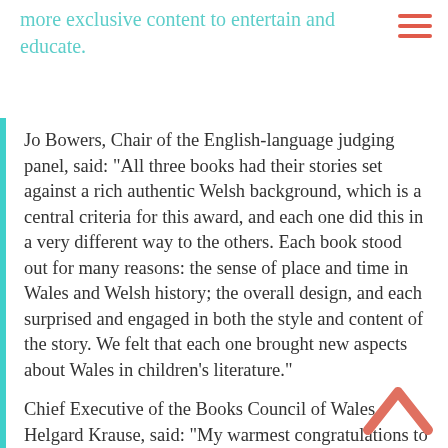more exclusive content to entertain and educate.
Jo Bowers, Chair of the English-language judging panel, said: “All three books had their stories set against a rich authentic Welsh background, which is a central criteria for this award, and each one did this in a very different way to the others. Each book stood out for many reasons: the sense of place and time in Wales and Welsh history; the overall design, and each surprised and engaged in both the style and content of the story. We felt that each one brought new aspects about Wales in children’s literature.”
Chief Executive of the Books Council of Wales, Helgard Krause, said: “My warmest congratulations to all those involved in bringing these three shortlisted titles to